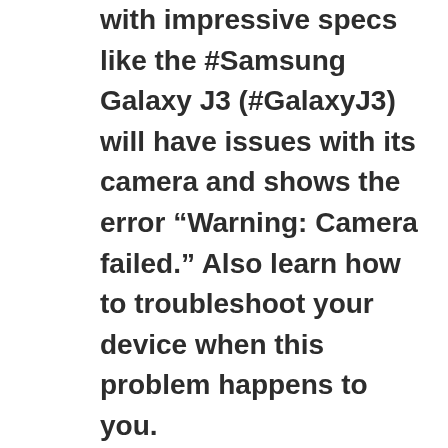with impressive specs like the #Samsung Galaxy J3 (#GalaxyJ3) will have issues with its camera and shows the error “Warning: Camera failed.” Also learn how to troubleshoot your device when this problem happens to you.